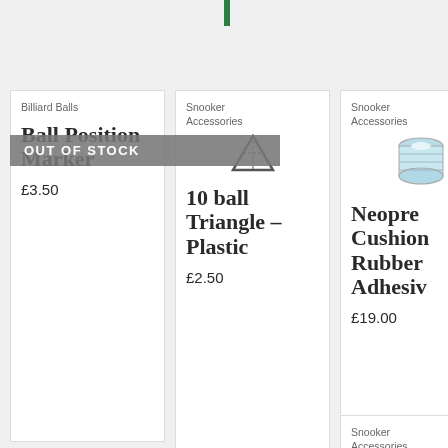OUT OF STOCK
Billiard Balls
Ball Position Marker
£3.50
Snooker Accessories
[Figure (photo): Triangle rack product image]
10 ball Triangle – Plastic
£2.50
Snooker Accessories
[Figure (photo): Roll of tape or adhesive product image]
Neoprene Cushion Rubber Adhesive
£19.00
Snooker Accessories
[Figure (photo): Another snooker accessory product image]